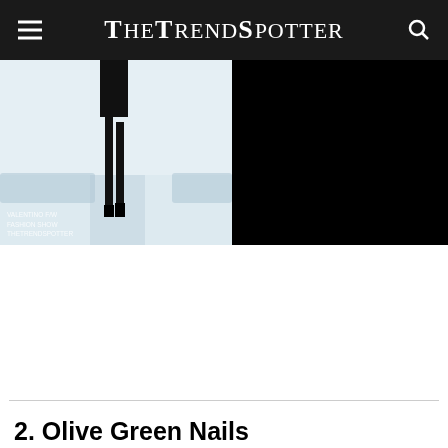TheTrendSpotter
[Figure (photo): Fashion runway photo showing model's legs in black high heel boots on a white runway with audience in background. Right half of the composite image area is solid black.]
2. Olive Green Nails